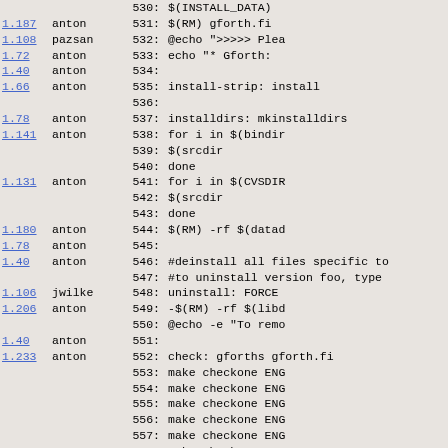| version | author | line | code |
| --- | --- | --- | --- |
|  |  | 530: | $(INSTALL_DATA) |
| 1.187 | anton | 531: | $(RM) gforth.fi |
| 1.108 | pazsan | 532: | @echo ">>>>> Plea |
| 1.72 | anton | 533: | echo "* Gforth: |
| 1.40 | anton | 534: |  |
| 1.66 | anton | 535: | install-strip: install |
|  |  | 536: |  |
| 1.78 | anton | 537: | installdirs:   mkinstalldirs |
| 1.141 | anton | 538: | for i in $(bindir |
|  |  | 539: |           $(srcdir |
|  |  | 540: | done |
| 1.131 | anton | 541: | for i in $(CVSDIR |
|  |  | 542: |           $(srcdir |
|  |  | 543: | done |
| 1.180 | anton | 544: | $(RM) -rf $(datad |
| 1.78 | anton | 545: |  |
| 1.40 | anton | 546: | #deinstall all files specific to |
|  |  | 547: | #to uninstall version foo, type |
| 1.106 | jwilke | 548: | uninstall:     FORCE |
| 1.206 | anton | 549: |           -$(RM) -rf $(libd |
|  |  | 550: |           @echo -e "To remo |
| 1.40 | anton | 551: |  |
| 1.233 | anton | 552: | check:         gforths gforth.fi |
|  |  | 553: | make checkone ENG |
|  |  | 554: | make checkone ENG |
|  |  | 555: | make checkone ENG |
|  |  | 556: | make checkone ENG |
|  |  | 557: | make checkone ENG |
|  |  | 558: | make checkone ENG |
| 1.238 | pazsan | 559: | @echo "*** Check |